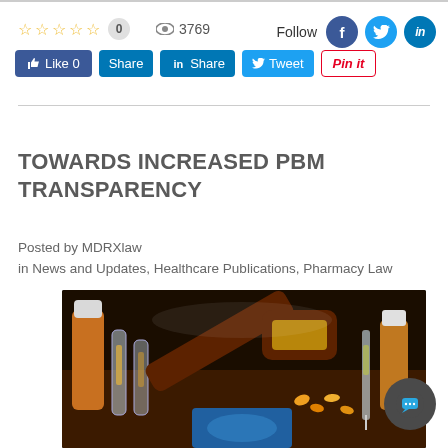☆☆☆☆☆  0  👁 3769  Follow  f  tw  in
👍 Like 0  Share  in Share  🐦 Tweet  Pin it
TOWARDS INCREASED PBM TRANSPARENCY
Posted by MDRXlaw
in News and Updates, Healthcare Publications, Pharmacy Law
[Figure (photo): Photo of pharmaceutical vials and bottles with a wooden judge's gavel on a dark surface, suggesting legal/pharmacy subject matter]